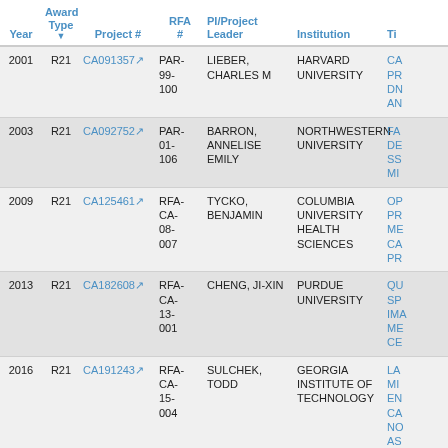| Year | Award Type | Project # | RFA # | PI/Project Leader | Institution | Ti |
| --- | --- | --- | --- | --- | --- | --- |
| 2001 | R21 | CA091357 | PAR-99-100 | LIEBER, CHARLES M | HARVARD UNIVERSITY | CA PR DN AN |
| 2003 | R21 | CA092752 | PAR-01-106 | BARRON, ANNELISE EMILY | NORTHWESTERN UNIVERSITY | FA DE SS MI |
| 2009 | R21 | CA125461 | RFA-CA-08-007 | TYCKO, BENJAMIN | COLUMBIA UNIVERSITY HEALTH SCIENCES | OP PR ME CA PR |
| 2013 | R21 | CA182608 | RFA-CA-13-001 | CHENG, JI-XIN | PURDUE UNIVERSITY | QU SP IMA ME CE |
| 2016 | R21 | CA191243 | RFA-CA-15-004 | SULCHEK, TODD | GEORGIA INSTITUTE OF TECHNOLOGY | LA MI EN CA NO AS |
|  |  |  | RFA-CA- |  | SOUTHERN ILLINOIS | DE DY |